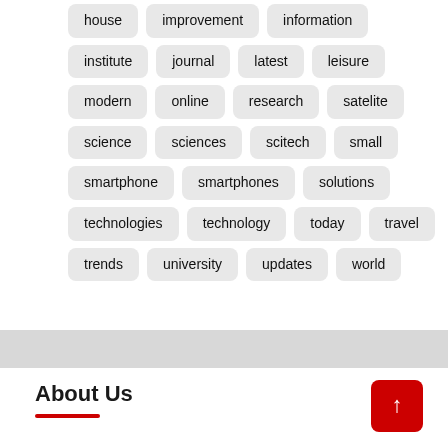house
improvement
information
institute
journal
latest
leisure
modern
online
research
satelite
science
sciences
scitech
small
smartphone
smartphones
solutions
technologies
technology
today
travel
trends
university
updates
world
About Us